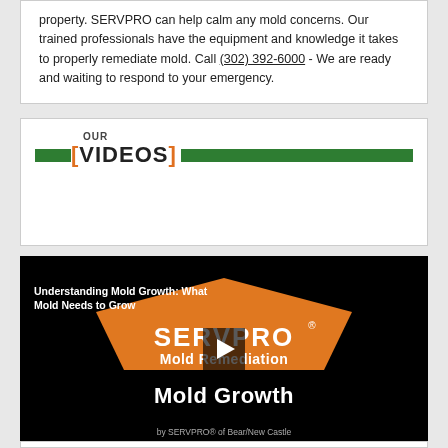property. SERVPRO can help calm any mold concerns. Our trained professionals have the equipment and knowledge it takes to properly remediate mold. Call (302) 392-6000 - We are ready and waiting to respond to your emergency.
OUR [VIDEOS]
[Figure (screenshot): Video thumbnail for SERVPRO Mold Remediation - Mold Growth video. Black background with orange SERVPRO diamond/house logo shape, SERVPRO brand name, video title 'Understanding Mold Growth: What Mold Needs to Grow', text 'Mold Remediation', large bold text 'Mold Growth', play button in center, and 'by SERVPRO of Bear/New Castle' at bottom.]